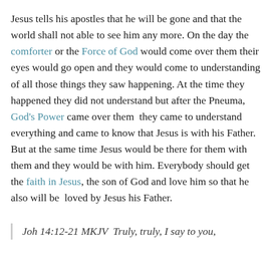Jesus tells his apostles that he will be gone and that the world shall not able to see him any more. On the day the comforter or the Force of God would come over them their eyes would go open and they would come to understanding of all those things they saw happening. At the time they happened they did not understand but after the Pneuma, God's Power came over them  they came to understand everything and came to know that Jesus is with his Father. But at the same time Jesus would be there for them with them and they would be with him. Everybody should get the faith in Jesus, the son of God and love him so that he also will be  loved by Jesus his Father.
Joh 14:12-21 MKJV  Truly, truly, I say to you,